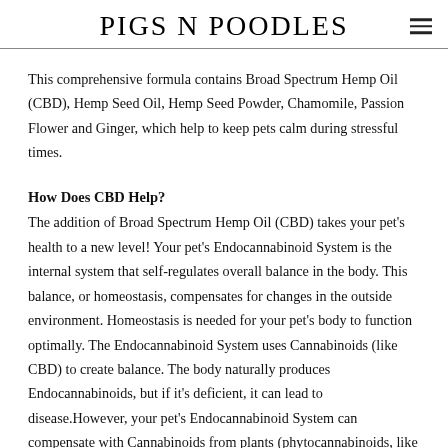PIGS N POODLES
This comprehensive formula contains Broad Spectrum Hemp Oil (CBD), Hemp Seed Oil, Hemp Seed Powder, Chamomile, Passion Flower and Ginger, which help to keep pets calm during stressful times.
How Does CBD Help?
The addition of Broad Spectrum Hemp Oil (CBD) takes your pet's health to a new level! Your pet's Endocannabinoid System is the internal system that self-regulates overall balance in the body. This balance, or homeostasis, compensates for changes in the outside environment. Homeostasis is needed for your pet's body to function optimally. The Endocannabinoid System uses Cannabinoids (like CBD) to create balance. The body naturally produces Endocannabinoids, but if it's deficient, it can lead to disease.However, your pet's Endocannabinoid System can compensate with Cannabinoids from plants (phytocannabinoids, like CBD).
Our products use proprietary Broad Spectrum Hemp Oil (CBD) which is